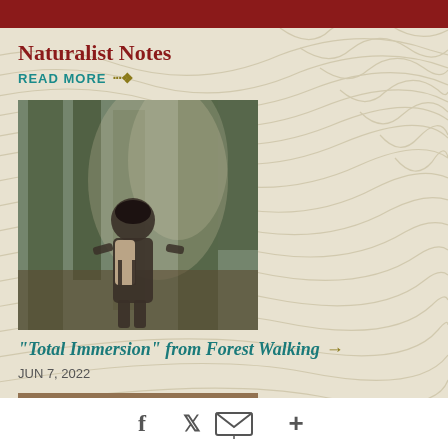Naturalist Notes
READ MORE →
[Figure (photo): Person with backpack walking through forest, viewed from behind]
“Total Immersion” from Forest Walking →
JUN 7, 2022
[Figure (photo): Close-up of a brown animal, possibly a rodent or young deer, among rocks]
f      +